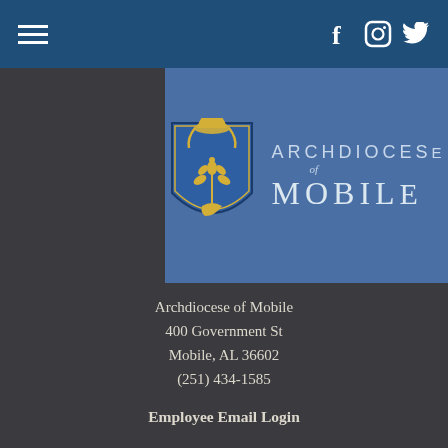Navigation bar with hamburger menu and social icons (Facebook, Instagram, Twitter)
[Figure (logo): Archdiocese of Mobile logo with episcopal shield (blue shield with gold floral design and mitre) and text 'Archdiocese of Mobile']
Archdiocese of Mobile
400 Government St
Mobile, AL 36602
(251) 434-1585
Employee Email Login